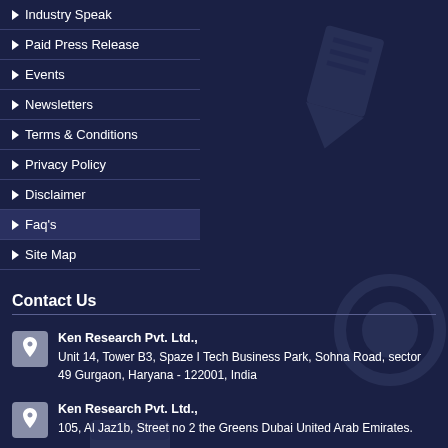Industry Speak
Paid Press Release
Events
Newsletters
Terms & Conditions
Privacy Policy
Disclaimer
Faq's
Site Map
Contact Us
Ken Research Pvt. Ltd., Unit 14, Tower B3, Spaze I Tech Business Park, Sohna Road, sector 49 Gurgaon, Haryana - 122001, India
Ken Research Pvt. Ltd., 105, Al Jaz1b, Street no 2 the Greens Dubai United Arab Emirates.